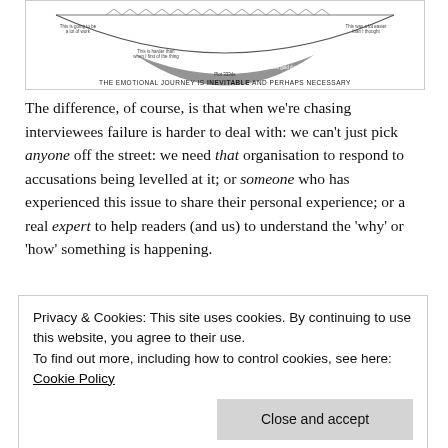[Figure (schematic): A diagram showing an emotional journey curve shaped like a hammock/dip, with annotations. Text at bottom reads: THE EMOTIONAL JOURNEY IS INEVITABLE AND PERHAPS NECESSARY]
The difference, of course, is that when we're chasing interviewees failure is harder to deal with: we can't just pick anyone off the street: we need that organisation to respond to accusations being levelled at it; or someone who has experienced this issue to share their personal experience; or a real expert to help readers (and us) to understand the 'why' or 'how' something is happening.
Privacy & Cookies: This site uses cookies. By continuing to use this website, you agree to their use.
To find out more, including how to control cookies, see here: Cookie Policy
[Close and accept]